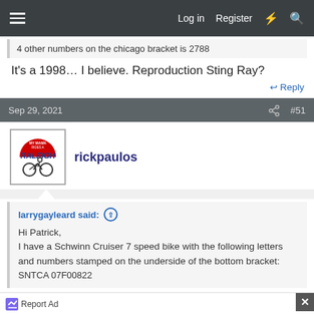Log in  Register
4 other numbers on the chicago bracket is 2788
It's a 1998… I believe. Reproduction Sting Ray?
Reply
Sep 29, 2021  #51
rickpaulos
larrygayleard said:
Hi Patrick,
I have a Schwinn Cruiser 7 speed bike with the following letters and numbers stamped on the underside of the bottom bracket:
SNTCA 07F00822
Report Ad
Leesburg  OPEN  10AM–9PM
241 Fort Evans Rd NE, Leesburg